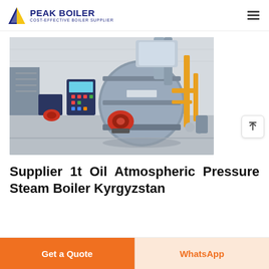PEAK BOILER — COST-EFFECTIVE BOILER SUPPLIER
[Figure (photo): Industrial boiler room with two large horizontal steam boilers, red burners, yellow piping, control panel, and exhaust stacks in a gray-tiled facility]
Supplier 1t Oil Atmospheric Pressure Steam Boiler Kyrgyzstan
Get a Quote
WhatsApp